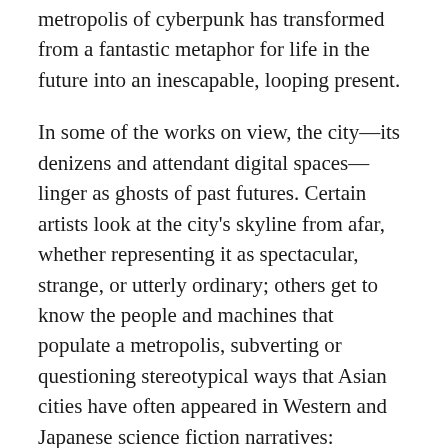metropolis of cyberpunk has transformed from a fantastic metaphor for life in the future into an inescapable, looping present.
In some of the works on view, the city—its denizens and attendant digital spaces—linger as ghosts of past futures. Certain artists look at the city's skyline from afar, whether representing it as spectacular, strange, or utterly ordinary; others get to know the people and machines that populate a metropolis, subverting or questioning stereotypical ways that Asian cities have often appeared in Western and Japanese science fiction narratives: artificial, neon-drenched, latently threatening. Some pieces explore the exploitative labour practices that get overlooked in our desire to imagine virtual space as a seamlessly equal playing field. Other artworks on view trace how intellectual capital flows from one context to another, mediating the